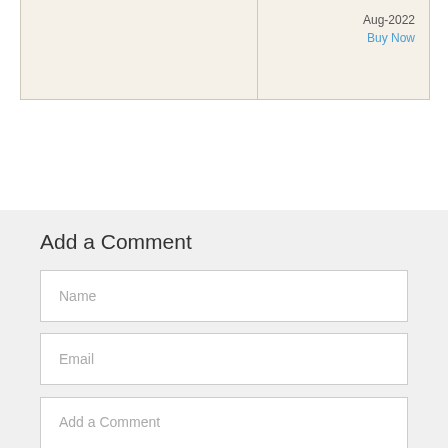|  | Aug-2022
Buy Now |
Add a Comment
Name
Email
Add a Comment
Comment will be moderated and published